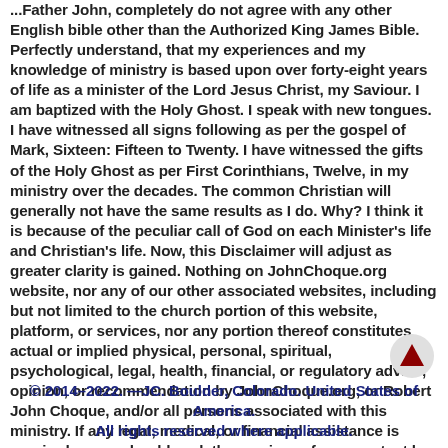...Father John, completely do not agree with any other English bible other than the Authorized King James Bible. Perfectly understand, that my experiences and my knowledge of ministry is based upon over forty-eight years of life as a minister of the Lord Jesus Christ, my Saviour. I am baptized with the Holy Ghost. I speak with new tongues. I have witnessed all signs following as per the gospel of Mark, Sixteen: Fifteen to Twenty. I have witnessed the gifts of the Holy Ghost as per First Corinthians, Twelve, in my ministry over the decades. The common Christian will generally not have the same results as I do. Why? I think it is because of the peculiar call of God on each Minister's life and Christian's life. Now, this Disclaimer will adjust as greater clarity is gained. Nothing on JohnChoque.org website, nor any of our other associated websites, including but not limited to the church portion of this website, platform, or services, nor any portion thereof constitutes actual or implied physical, personal, spiritual, psychological, legal, health, financial, or regulatory advice, opinion, or recommendation by JohnChoque.org, or Robert John Choque, and/or all persons associated with this ministry. If any legal, medical, or financial assistance is required, users should seek the services of a competent law attorney, medical doctor, or financial representative. By using this ministry website, you agree with the Terms and Conditions, Privacy Policy, and Disclaimer. "The grace of our Lord Jesus Christ be with you all. Amen." The Holy Bible — Revelation 22:21, King James Version.
© 2014–2022. —JC. Boulder, Colorado. United States of America. All rights reserved where applicable.